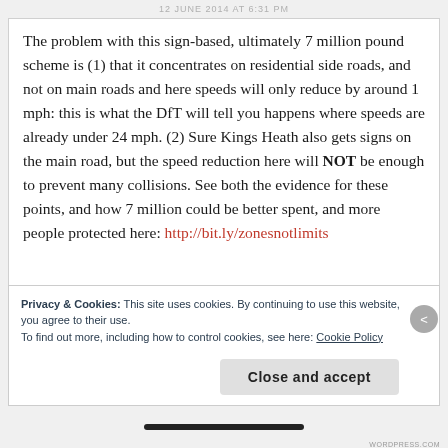12 JUNE 2014 AT 6:31 PM
The problem with this sign-based, ultimately 7 million pound scheme is (1) that it concentrates on residential side roads, and not on main roads and here speeds will only reduce by around 1 mph: this is what the DfT will tell you happens where speeds are already under 24 mph. (2) Sure Kings Heath also gets signs on the main road, but the speed reduction here will NOT be enough to prevent many collisions. See both the evidence for these points, and how 7 million could be better spent, and more people protected here: http://bit.ly/zonesnotlimits
Privacy & Cookies: This site uses cookies. By continuing to use this website, you agree to their use.
To find out more, including how to control cookies, see here: Cookie Policy
Close and accept